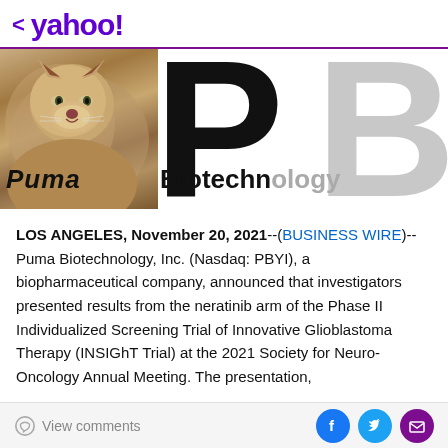< yahoo!
[Figure (logo): Puma Biotechnology company logo banner with puma animal on left and large stylized PB letters with 'Puma Biotechnology' text]
LOS ANGELES, November 20, 2021--(BUSINESS WIRE)-- Puma Biotechnology, Inc. (Nasdaq: PBYI), a biopharmaceutical company, announced that investigators presented results from the neratinib arm of the Phase II Individualized Screening Trial of Innovative Glioblastoma Therapy (INSIGhT Trial) at the 2021 Society for Neuro-Oncology Annual Meeting. The presentation,
View comments